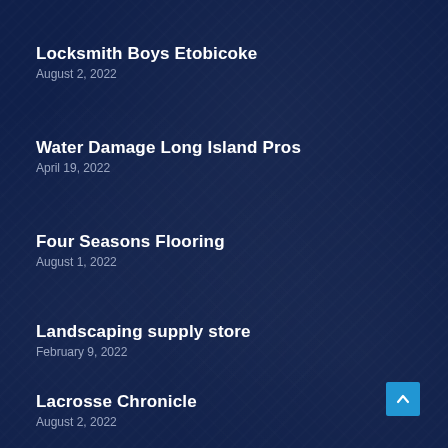Locksmith Boys Etobicoke
August 2, 2022
Water Damage Long Island Pros
April 19, 2022
Four Seasons Flooring
August 1, 2022
Landscaping supply store
February 9, 2022
Lacrosse Chronicle
August 2, 2022